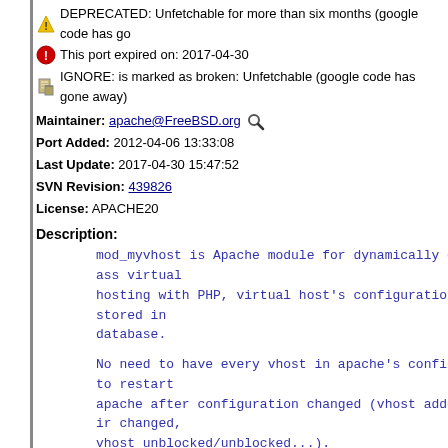DEPRECATED: Unfetchable for more than six months (google code has go
This port expired on: 2017-04-30
IGNORE: is marked as broken: Unfetchable (google code has gone away)
Maintainer: apache@FreeBSD.org
Port Added: 2012-04-06 13:33:08
Last Update: 2017-04-30 15:47:52
SVN Revision: 439826
License: APACHE20
Description:
mod_myvhost is Apache module for dynamically configured
ass virtual
hosting with PHP, virtual host's configurations and PHP
stored in
database.

No need to have every vhost in apache's configuration fi
to restart
apache after configuration changed (vhost added|deleted,
ir changed,
vhost unblocked/unblocked...).

After all, it is capable to change settings of PHP4/5 dy
f php is
loadable module or it is linked with apache) for any who
lt, it sets
open_basedir as vhost's rootdir to prevent user from sto
rom other
users and from your server, but you have ability to chan
y parameter